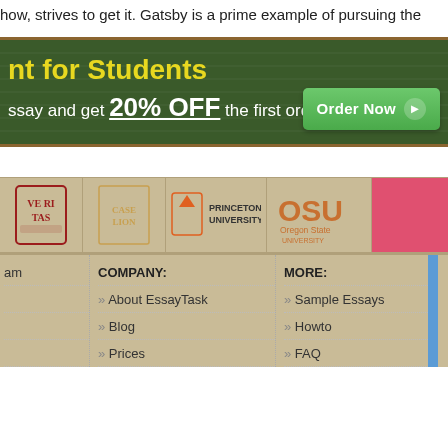how, strives to get it. Gatsby is a prime example of pursuing the
[Figure (screenshot): Green chalkboard-style banner advertisement for students: 'nt for Students' heading in yellow, 'ssay and get 20% OFF the first order' in white, with a green 'Order Now' button]
[Figure (screenshot): University logos strip on tan background: Harvard, Case Western (LION), Princeton University, OSU (Oregon State University), and partial red logo]
COMPANY:
MORE:
» About EssayTask
» Sample Essays
» Blog
» Howto
» Prices
» FAQ